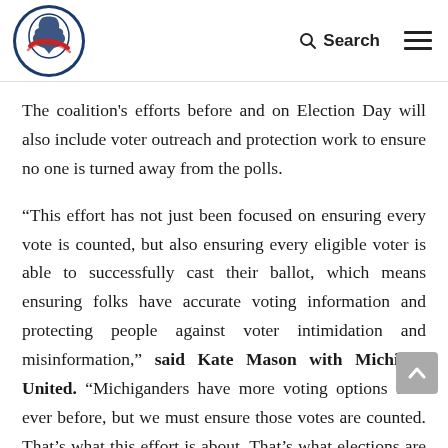Michigan United logo, Search, Menu
The coalition's efforts before and on Election Day will also include voter outreach and protection work to ensure no one is turned away from the polls.
“This effort has not just been focused on ensuring every vote is counted, but also ensuring every eligible voter is able to successfully cast their ballot, which means ensuring folks have accurate voting information and protecting people against voter intimidation and misinformation,” said Kate Mason with Michigan United. “Michiganders have more voting options than ever before, but we must ensure those votes are counted. That’s what this effort is about. That’s what elections are about.”
As part of the coalition’s efforts to celebrate and defend democracy, a number of events have been planned across…